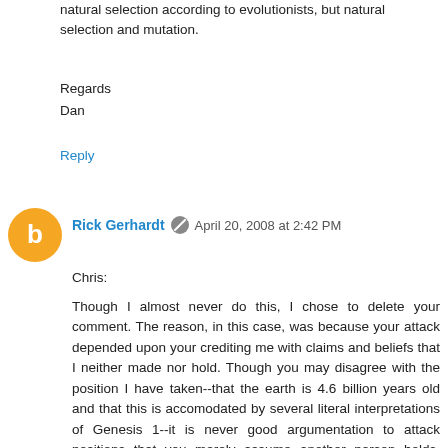natural selection according to evolutionists, but natural selection and mutation.
Regards
Dan
Reply
Rick Gerhardt  April 20, 2008 at 2:42 PM
Chris:

Though I almost never do this, I chose to delete your comment. The reason, in this case, was because your attack depended upon your crediting me with claims and beliefs that I neither made nor hold. Though you may disagree with the position I have taken--that the earth is 4.6 billion years old and that this is accomodated by several literal interpretations of Genesis 1--it is never good argumentation to attack positions that you merely assume another person holds. Indeed, your comment made it clear that you had not bothered to read most of this or the other relevant threads.